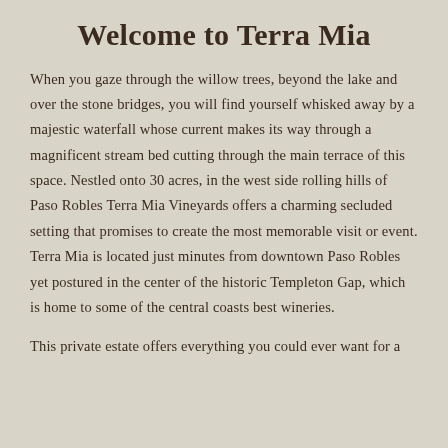Welcome to Terra Mia
When you gaze through the willow trees, beyond the lake and over the stone bridges, you will find yourself whisked away by a majestic waterfall whose current makes its way through a magnificent stream bed cutting through the main terrace of this space. Nestled onto 30 acres, in the west side rolling hills of Paso Robles Terra Mia Vineyards offers a charming secluded setting that promises to create the most memorable visit or event. Terra Mia is located just minutes from downtown Paso Robles yet postured in the center of the historic Templeton Gap, which is home to some of the central coasts best wineries.
This private estate offers everything you could ever want for a